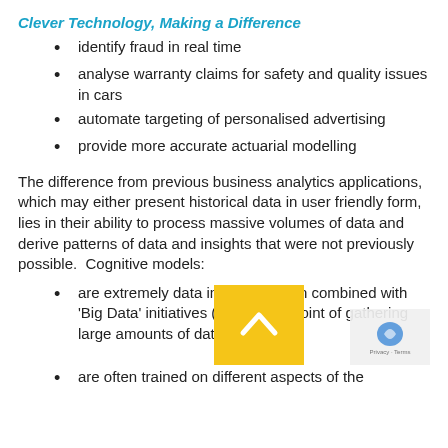Clever Technology, Making a Difference
identify fraud in real time
analyse warranty claims for safety and quality issues in cars
automate targeting of personalised advertising
provide more accurate actuarial modelling
The difference from previous business analytics applications, which may either present historical data in user friendly form, lies in their ability to process massive volumes of data and derive patterns of data and insights that were not previously possible.  Cognitive models:
are extremely data intensive, often combined with 'Big Data' initiatives (what is the point of gathering large amounts of data otherwise?)
are often trained on different aspects of the